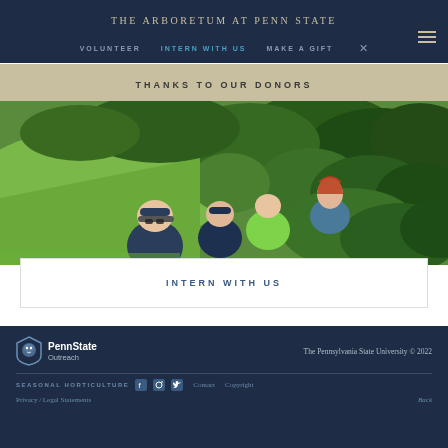THE ARBORETUM AT PENN STATE
VOLUNTEER   INTERN WITH US   MAKE A GIFT
THANKS TO OUR DONORS
[Figure (photo): Group of four volunteers or interns working in a lush garden with green plantings and shrubs, smiling at the camera]
INTERN WITH US
PennState Outreach   The Pennsylvania State University © 2022   SEASONAL HORTICULTURE   Contact   Copyright   Privacy / Legal Statements   Back